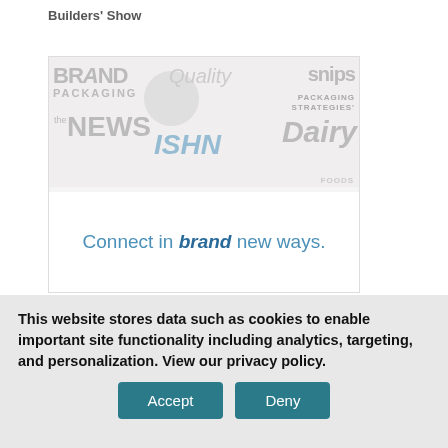Builders' Show
[Figure (illustration): Advertisement banner with faded brand logos (BRAND PACKAGING, Quality, snips, nt circle, PACKAGING STRATEGIES, the NEWS, ISHN, Dairy Foods) and tagline 'Connect in brand new ways.']
This website stores data such as cookies to enable important site functionality including analytics, targeting, and personalization. View our privacy policy.